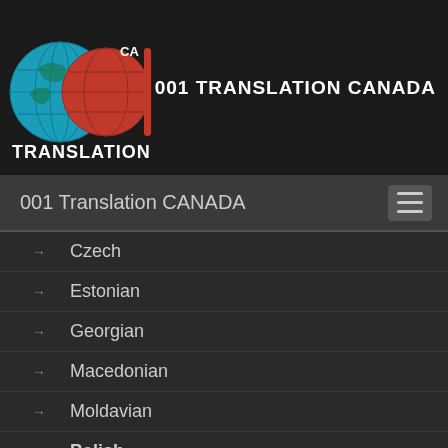[Figure (logo): 001 Translation Canada logo with two globes (blue and red) and 'TRANSLATION' text, plus 'CA' label]
001 TRANSLATION CANADA
001 Translation CANADA
Czech
Estonian
Georgian
Macedonian
Moldavian
Polish
Russian
Serbian
Slovak
Slovenian
Ukrainian
Asian